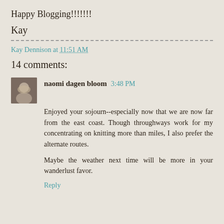Happy Blogging!!!!!!!
Kay
Kay Dennison at 11:51 AM
14 comments:
naomi dagen bloom  3:48 PM
Enjoyed your sojourn--especially now that we are now far from the east coast. Though throughways work for my concentrating on knitting more than miles, I also prefer the alternate routes.

Maybe the weather next time will be more in your wanderlust favor.
Reply